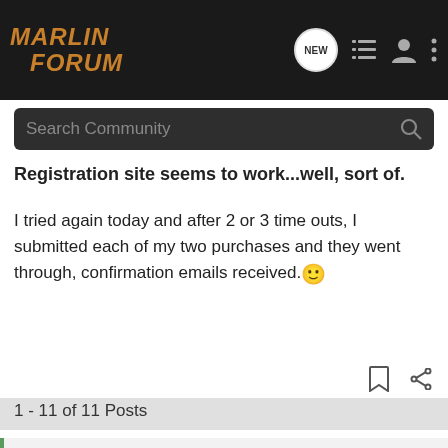MARLIN FORUM
Search Community
Registration site seems to work...well, sort of.
I tried again today and after 2 or 3 time outs, I submitted each of my two purchases and they went through, confirmation emails received. 🙂
1 - 11 of 11 Posts
This is an older thread, you may not receive a response, and could be reviving an old thread. Please consider creating a new thread.
[Figure (photo): Advertisement for Kel-Tec CP33 pistol: 'Seeking Long Range Relationship' with Buy Now button]